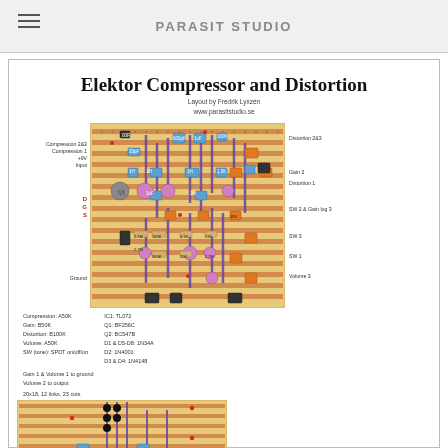PARASIT STUDIO
Elektor Compressor and Distortion
Layout by Fredrik Lyxzén
www.parasitstudio.se
[Figure (engineering-diagram): Stripboard/veroboard layout diagram for Elektor Compressor and Distortion circuit, showing component placement on a perforated board with orange/brown stripes. Components include resistors, capacitors, transistors Q1 Q2, IC1, diodes, and links. Left side labels: Compression 2&3, Compression 1, +9V, Input, D G S, Ground. Right side labels: Distortion 2&3, Gain 2, Distortion 1, SW 2 & Gain lug 3, SW 3, SW 1, Volume 3.]
Compression: A50K
Gain: B50K
Distortion: B100K
Volume: A50K
SW (tone): SPDT on/off/on
IC1: TL072
Q1: BF256C
Q2: BC547B
D1 & D5-D8: 1N34A
D2: 1N4001
D3 & D4: 1N4148
Gain 1 & Volume 1 to ground
Volume 2 to output
20x18, 12 links, 23 cuts
[Figure (engineering-diagram): Partial view of a second stripboard layout diagram showing the bottom portion of the circuit board with component placements, links, and cuts on orange/brown striped veroboard.]